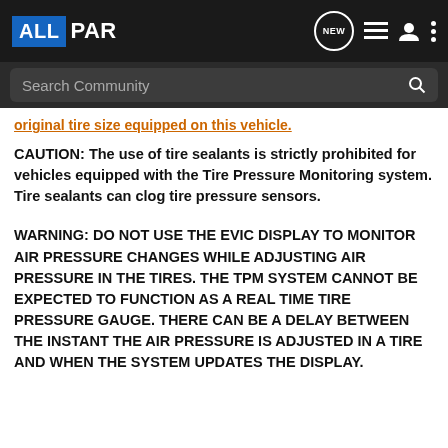ALLPAR — Navigation bar with logo, NEW icon, list icon, user icon, more icon
Search Community
original tire size equipped on this vehicle.
CAUTION: The use of tire sealants is strictly prohibited for vehicles equipped with the Tire Pressure Monitoring system. Tire sealants can clog tire pressure sensors.
WARNING: DO NOT USE THE EVIC DISPLAY TO MONITOR AIR PRESSURE CHANGES WHILE ADJUSTING AIR PRESSURE IN THE TIRES. THE TPM SYSTEM CANNOT BE EXPECTED TO FUNCTION AS A REAL TIME TIRE PRESSURE GAUGE. THERE CAN BE A DELAY BETWEEN THE INSTANT THE AIR PRESSURE IS ADJUSTED IN A TIRE AND WHEN THE SYSTEM UPDATES THE DISPLAY.